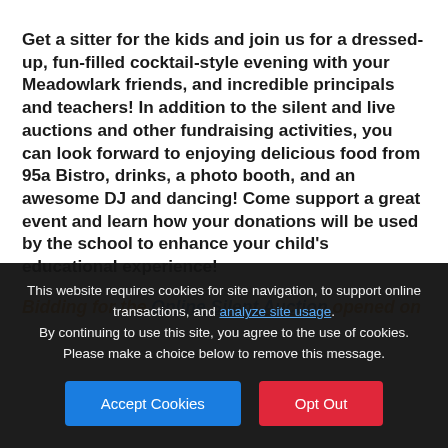Get a sitter for the kids and join us for a dressed-up, fun-filled cocktail-style evening with your Meadowlark friends, and incredible principals and teachers! In addition to the silent and live auctions and other fundraising activities, you can look forward to enjoying delicious food from 95a Bistro, drinks, a photo booth, and an awesome DJ and dancing! Come support a great event and learn how your donations will be used by the school to enhance your child's educational experience!
Bidding for the Online Silent Auction opened on
This website requires cookies for site navigation, to support online transactions, and analyze site usage. By continuing to use this site, you agree to the use of cookies. Please make a choice below to remove this message.